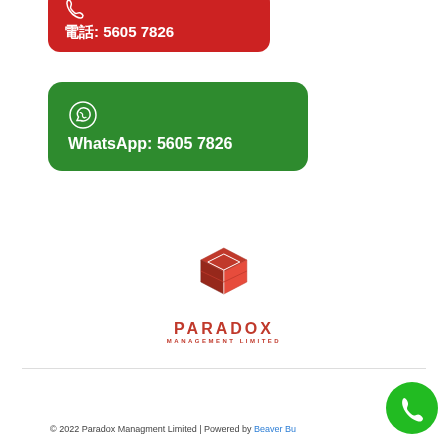[Figure (other): Red button with phone icon and text: 電話: 5605 7826 (partially cropped at top)]
[Figure (other): Green WhatsApp button with WhatsApp icon and text: WhatsApp: 5605 7826]
[Figure (logo): Paradox Management Limited logo — red 3D cube icon above red text PARADOX MANAGEMENT LIMITED]
© 2022 Paradox Managment Limited | Powered by Beaver Bu...